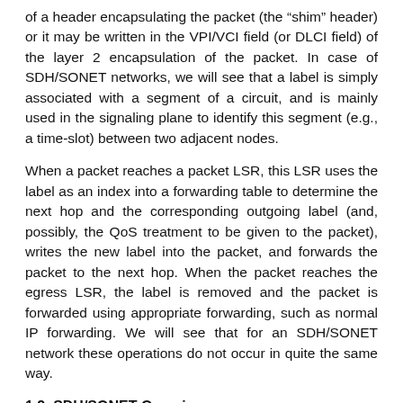of a header encapsulating the packet (the "shim" header) or it may be written in the VPI/VCI field (or DLCI field) of the layer 2 encapsulation of the packet. In case of SDH/SONET networks, we will see that a label is simply associated with a segment of a circuit, and is mainly used in the signaling plane to identify this segment (e.g., a time-slot) between two adjacent nodes.
When a packet reaches a packet LSR, this LSR uses the label as an index into a forwarding table to determine the next hop and the corresponding outgoing label (and, possibly, the QoS treatment to be given to the packet), writes the new label into the packet, and forwards the packet to the next hop. When the packet reaches the egress LSR, the label is removed and the packet is forwarded using appropriate forwarding, such as normal IP forwarding. We will see that for an SDH/SONET network these operations do not occur in quite the same way.
1.2. SDH/SONET Overview